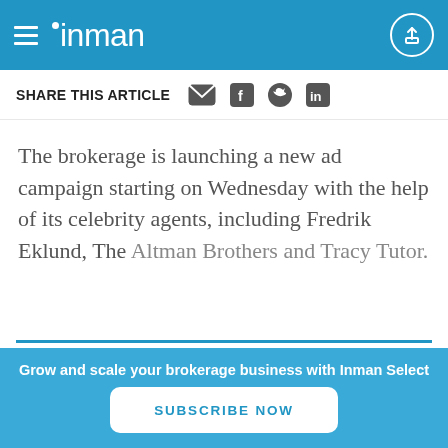inman
SHARE THIS ARTICLE
The brokerage is launching a new ad campaign starting on Wednesday with the help of its celebrity agents, including Fredrik Eklund, The Altman Brothers and Tracy Tutor.
Real Estate news that gives you the inside track.
Grow and scale your brokerage business with Inman Select
SUBSCRIBE NOW